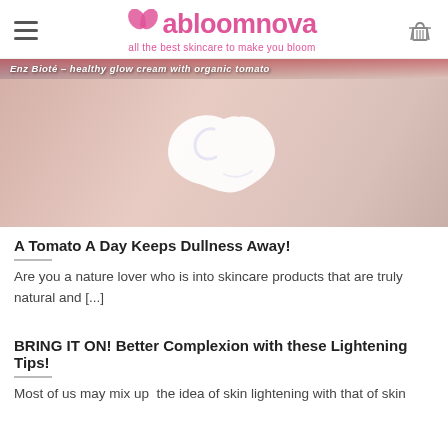abloomnova — all the best skincare to make you bloom
[Figure (photo): Close-up photo of a hand with a white cream swatch on the back, over a pinkish-gray background. Text overlay reads: 'Enz Bioté – healthy glow cream with organic tomato']
A Tomato A Day Keeps Dullness Away!
Are you a nature lover who is into skincare products that are truly natural and [...]
BRING IT ON! Better Complexion with these Lightening Tips!
Most of us may mix up  the idea of skin lightening with that of skin